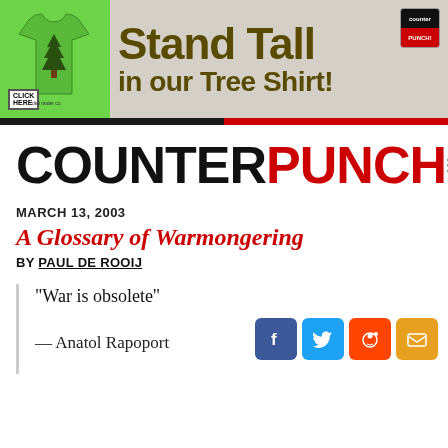[Figure (illustration): Advertisement banner: green t-shirt with tree graphic on left, bold dark olive text 'Stand Tall in our Tree Shirt!' on gray background, CounterPunch logo badge top right, 'CLICK HERE' button bottom left of shirt area.]
COUNTERPUNCH
MARCH 13, 2003
A Glossary of Warmongering
BY PAUL DE ROOIJ
“War is obsolete”
— Anatol Rapoport